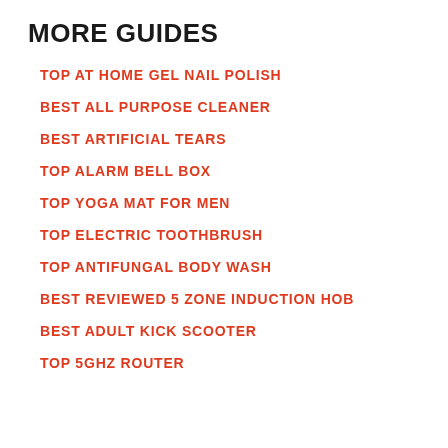MORE GUIDES
TOP AT HOME GEL NAIL POLISH
BEST ALL PURPOSE CLEANER
BEST ARTIFICIAL TEARS
TOP ALARM BELL BOX
TOP YOGA MAT FOR MEN
TOP ELECTRIC TOOTHBRUSH
TOP ANTIFUNGAL BODY WASH
BEST REVIEWED 5 ZONE INDUCTION HOB
BEST ADULT KICK SCOOTER
TOP 5GHZ ROUTER